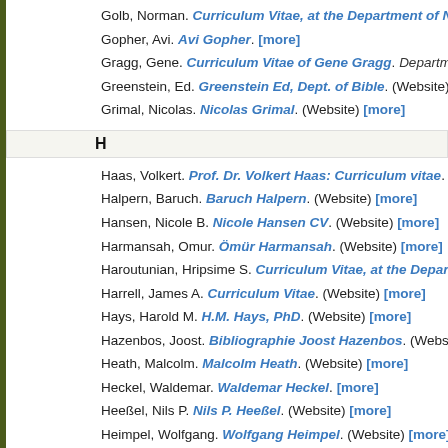Golb, Norman. Curriculum Vitae, at the Department of Near Eastern Lan... [more]
Gopher, Avi. Avi Gopher. [more]
Gragg, Gene. Curriculum Vitae of Gene Gragg. Department of Near Easte...
Greenstein, Ed. Greenstein Ed, Dept. of Bible. (Website) [more]
Grimal, Nicolas. Nicolas Grimal. (Website) [more]
H
Haas, Volkert. Prof. Dr. Volkert Haas: Curriculum vitae. (Website) [more]
Halpern, Baruch. Baruch Halpern. (Website) [more]
Hansen, Nicole B. Nicole Hansen CV. (Website) [more]
Harmansah, Omur. Ömür Harmansah. (Website) [more]
Haroutunian, Hripsime S. Curriculum Vitae, at the Department of Near Ea...
Harrell, James A. Curriculum Vitae. (Website) [more]
Hays, Harold M. H.M. Hays, PhD. (Website) [more]
Hazenbos, Joost. Bibliographie Joost Hazenbos. (Website) [more]
Heath, Malcolm. Malcolm Heath. (Website) [more]
Heckel, Waldemar. Waldemar Heckel. [more]
Heeßel, Nils P. Nils P. Heeßel. (Website) [more]
Heimpel, Wolfgang. Wolfgang Heimpel. (Website) [more]
Hendel, Ronald. Ronald Hendel. (Website) [more]